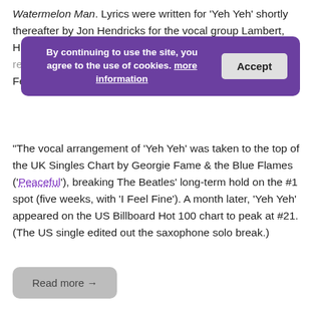Watermelon Man. Lyrics were written for 'Yeh Yeh' shortly thereafter by Jon Hendricks for the vocal group Lambert, Hendricks & Ross, and recorded by them at the 1963 Newport Jazz Festival.
By continuing to use the site, you agree to the use of cookies. more information
“The vocal arrangement of ‘Yeh Yeh’ was taken to the top of the UK Singles Chart by Georgie Fame & the Blue Flames (‘Peaceful’), breaking The Beatles’ long-term hold on the #1 spot (five weeks, with ‘I Feel Fine’). A month later, ‘Yeh Yeh’ appeared on the US Billboard Hot 100 chart to peak at #21. (The US single edited out the saxophone solo break.)
Read more →